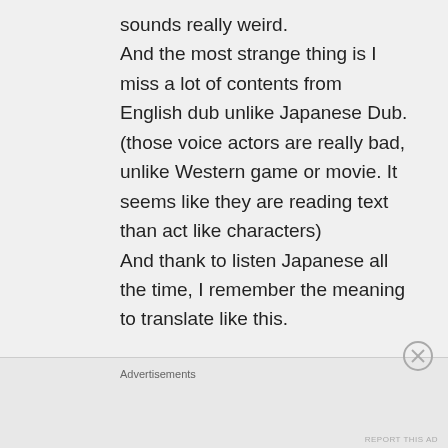sounds really weird.
And the most strange thing is I miss a lot of contents from English dub unlike Japanese Dub.
(those voice actors are really bad, unlike Western game or movie. It seems like they are reading text than act like characters)
And thank to listen Japanese all the time, I remember the meaning to translate like this.

PS: However, Action games and S...
Advertisements
REPORT THIS AD